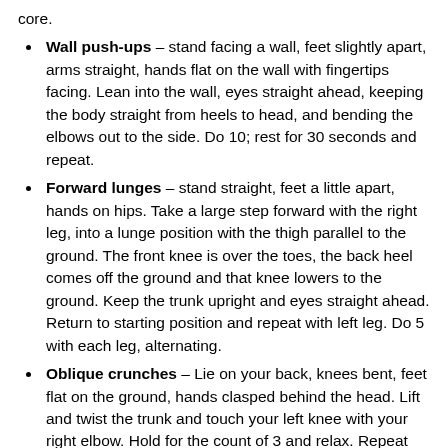core.
Wall push-ups – stand facing a wall, feet slightly apart, arms straight, hands flat on the wall with fingertips facing. Lean into the wall, eyes straight ahead, keeping the body straight from heels to head, and bending the elbows out to the side. Do 10; rest for 30 seconds and repeat.
Forward lunges – stand straight, feet a little apart, hands on hips. Take a large step forward with the right leg, into a lunge position with the thigh parallel to the ground. The front knee is over the toes, the back heel comes off the ground and that knee lowers to the ground. Keep the trunk upright and eyes straight ahead. Return to starting position and repeat with left leg. Do 5 with each leg, alternating.
Oblique crunches – Lie on your back, knees bent, feet flat on the ground, hands clasped behind the head. Lift and twist the trunk and touch your left knee with your right elbow. Hold for the count of 3 and relax. Repeat with other side. Do 5 repeats, rest for 30 seconds and repeat.